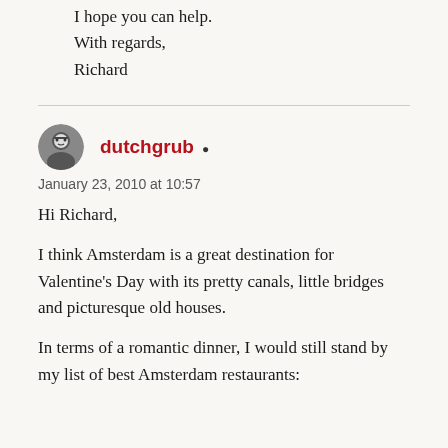I hope you can help.
With regards,
Richard
dutchgrub
January 23, 2010 at 10:57
Hi Richard,
I think Amsterdam is a great destination for Valentine's Day with its pretty canals, little bridges and picturesque old houses.
In terms of a romantic dinner, I would still stand by my list of best Amsterdam restaurants: